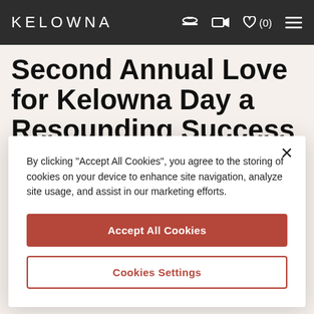Kelowna
Second Annual Love for Kelowna Day a Resounding Success
Add to Itinerary
By clicking "Accept All Cookies", you agree to the storing of cookies on your device to enhance site navigation, analyze site usage, and assist in our marketing efforts.
Accept All Cookies
Cookies Settings